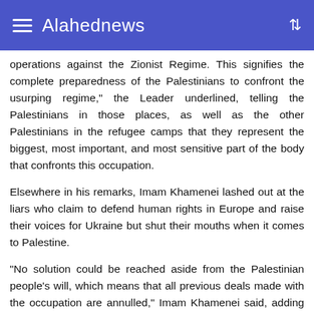Alahednews
operations against the Zionist Regime. This signifies the complete preparedness of the Palestinians to confront the usurping regime," the Leader underlined, telling the Palestinians in those places, as well as the other Palestinians in the refugee camps that they represent the biggest, most important, and most sensitive part of the body that confronts this occupation.
Elsewhere in his remarks, Imam Khamenei lashed out at the liars who claim to defend human rights in Europe and raise their voices for Ukraine but shut their mouths when it comes to Palestine.
“No solution could be reached aside from the Palestinian people’s will, which means that all previous deals made with the occupation are annulled,” Imam Khamenei said, adding that “The power of resistance is solely capable of solving the nation’s [Ummah] crises, atop of which is the Palestinian cause.”
In reference to the resistance as a whole front, Imam Khamenei identified its main roles as combatting